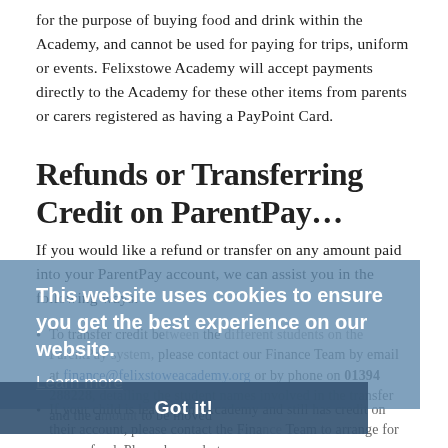for the purpose of buying food and drink within the Academy, and cannot be used for paying for trips, uniform or events. Felixstowe Academy will accept payments directly to the Academy for these other items from parents or carers registered as having a PayPoint Card.
Refunds or Transferring Credit on ParentPay…
If you would like a refund or transfer on any amount paid into your ParentPay account, we can assist you in the following ways:
To transfer credit between the different students on the same ParentPay system, please contact our Finance Team by email at finance@felixstoweacademy.org or by phone on 01394 288228, detailing the student names involved in the transfer and the amount to be moved
If your child is leaving the Academy and still has credit on their account, please contact the Finance Team to arrange for your refund. Please be ready to
This website uses cookies to ensure you get the best experience on our website.
Learn more
Got it!